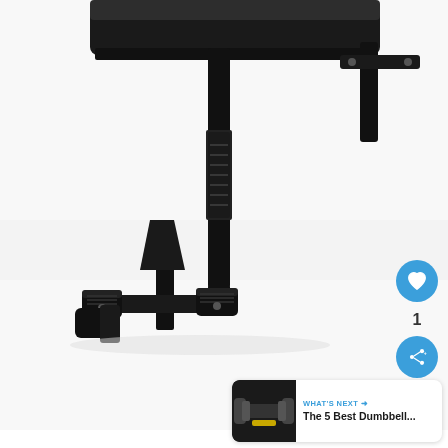[Figure (photo): Close-up photo of a black weight bench showing the legs/feet and part of the seat pad and vertical support pole with the brand label, against a white background. The bench has rubber-footed legs and a crossbar visible at the top right.]
[Figure (screenshot): UI overlay with a blue heart/like button, a like count of 1, a blue share button, and a 'WHAT'S NEXT' card showing a thumbnail of dumbbells and the text 'The 5 Best Dumbbell...']